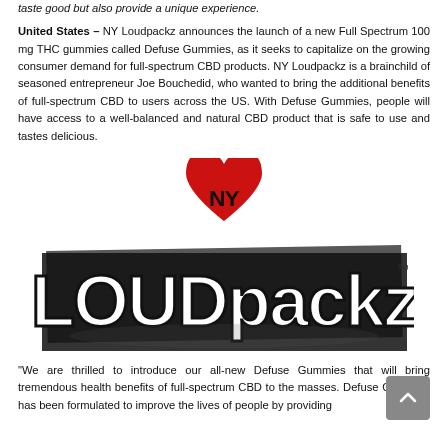taste good but also provide a unique experience.
United States – NY Loudpackz announces the launch of a new Full Spectrum 100 mg THC gummies called Defuse Gummies, as it seeks to capitalize on the growing consumer demand for full-spectrum CBD products. NY Loudpackz is a brainchild of seasoned entrepreneur Joe Bouchedid, who wanted to bring the additional benefits of full-spectrum CBD to users across the US. With Defuse Gummies, people will have access to a well-balanced and natural CBD product that is safe to use and tastes delicious.
[Figure (logo): NY Loudpackz logo — bold graffiti-style lettering spelling 'LOUDpackz' with a red heart containing 'NY' above the text]
“We are thrilled to introduce our all-new Defuse Gummies that will bring tremendous health benefits of full-spectrum CBD to the masses. Defuse Gummies has been formulated to improve the lives of people by providing